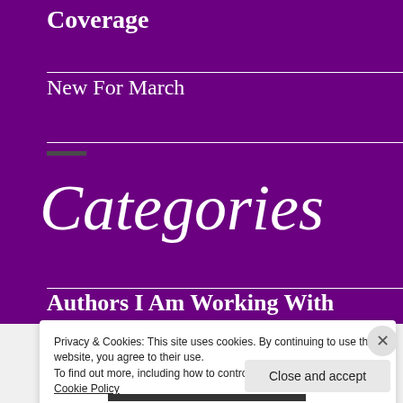Coverage
New For March
Categories
Authors I Am Working With
Privacy & Cookies: This site uses cookies. By continuing to use this website, you agree to their use.
To find out more, including how to control cookies, see here:
Cookie Policy
Close and accept